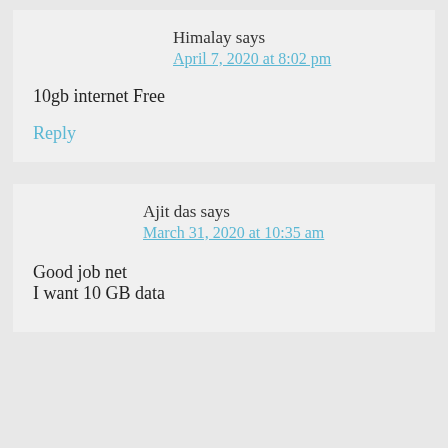Himalay says
April 7, 2020 at 8:02 pm
10gb internet Free
Reply
Ajit das says
March 31, 2020 at 10:35 am
Good job net
I want 10 GB data